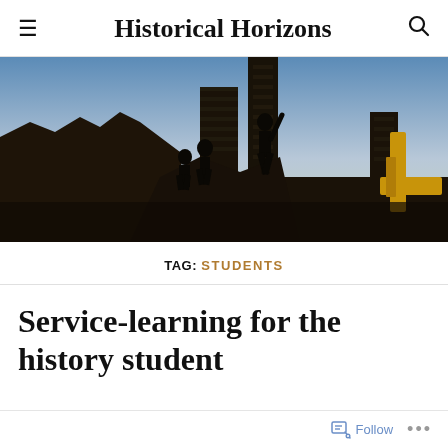Historical Horizons
[Figure (photo): Silhouetted figures climbing and working on ancient stone ruins against a blue-gradient sky at dusk. A yellow construction vehicle is visible on the right side.]
TAG: STUDENTS
Service-learning for the history student